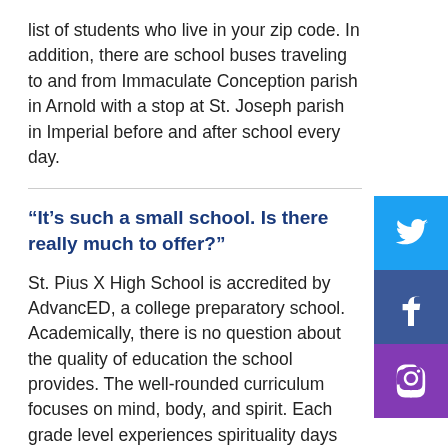list of students who live in your zip code. In addition, there are school buses traveling to and from Immaculate Conception parish in Arnold with a stop at St. Joseph parish in Imperial before and after school every day.
“It’s such a small school. Is there really much to offer?”
St. Pius X High School is accredited by AdvancED, a college preparatory school. Academically, there is no question about the quality of education the school provides. The well-rounded curriculum focuses on mind, body, and spirit. Each grade level experiences spirituality days which include team building exercises. There are many leadership opportunities for students